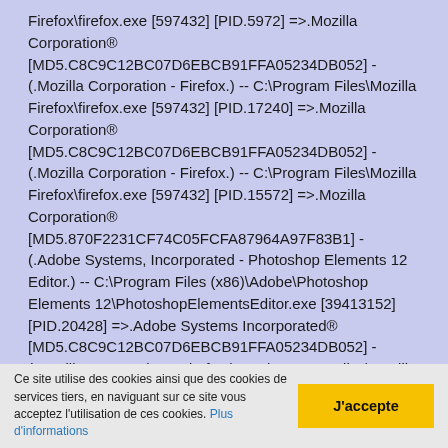Firefox\firefox.exe [597432] [PID.5972] =>.Mozilla Corporation® [MD5.C8C9C12BC07D6EBCB91FFA05234DB052] - (.Mozilla Corporation - Firefox.) -- C:\Program Files\Mozilla Firefox\firefox.exe [597432] [PID.17240] =>.Mozilla Corporation® [MD5.C8C9C12BC07D6EBCB91FFA05234DB052] - (.Mozilla Corporation - Firefox.) -- C:\Program Files\Mozilla Firefox\firefox.exe [597432] [PID.15572] =>.Mozilla Corporation® [MD5.870F2231CF74C05FCFA87964A97F83B1] - (.Adobe Systems, Incorporated - Photoshop Elements 12 Editor.) -- C:\Program Files (x86)\Adobe\Photoshop Elements 12\PhotoshopElementsEditor.exe [39413152] [PID.20428] =>.Adobe Systems Incorporated® [MD5.C8C9C12BC07D6EBCB91FFA05234DB052] - (.Mozilla Corporation - Firefox.) -- C:\Program Files\Mozilla Firefox\firefox.exe [597432] [PID.3948] =>.Mozilla Corporation®
Ce site utilise des cookies ainsi que des cookies de services tiers, en naviguant sur ce site vous acceptez l'utilisation de ces cookies. Plus d'informations
J'accepte